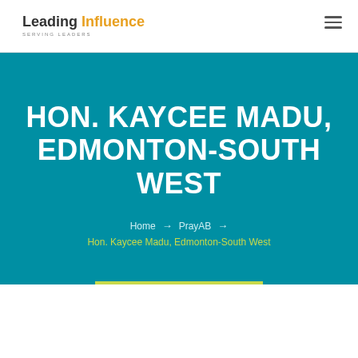Leading Influence SERVING LEADERS
HON. KAYCEE MADU, EDMONTON-SOUTH WEST
Home → PrayAB → Hon. Kaycee Madu, Edmonton-South West